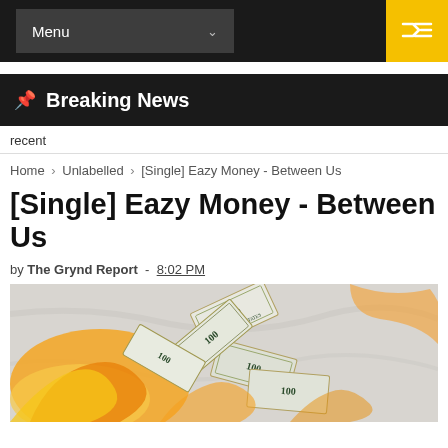Menu
Breaking News
recent
Home > Unlabelled > [Single] Eazy Money - Between Us
[Single] Eazy Money - Between Us
by The Grynd Report - 8:02 PM
[Figure (photo): Photo of dollar bills with orange and yellow fire/flame splash effect on a light marble background]